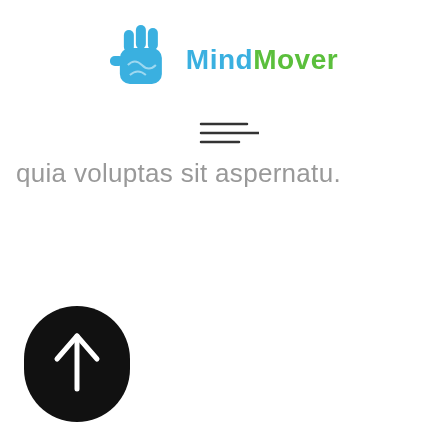[Figure (logo): MindMover logo: a blue fist/brain icon on the left, text 'Mind' in blue and 'Mover' in green]
[Figure (other): Hamburger menu icon: three horizontal lines of unequal length]
quia voluptas sit aspernatu.
[Figure (other): Black rounded rectangle (pill/capsule shape) with a white upward arrow in the center, resembling a scroll-to-top button]